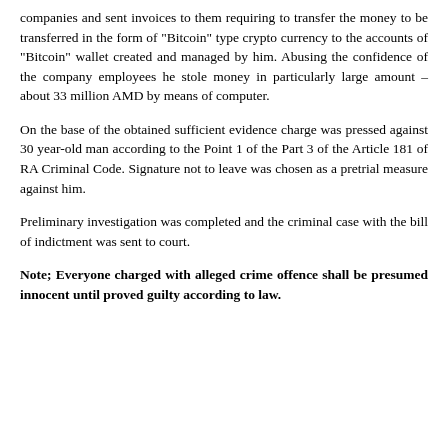companies and sent invoices to them requiring to transfer the money to be transferred in the form of "Bitcoin" type crypto currency to the accounts of "Bitcoin" wallet created and managed by him. Abusing the confidence of the company employees he stole money in particularly large amount – about 33 million AMD by means of computer.
On the base of the obtained sufficient evidence charge was pressed against 30 year-old man according to the Point 1 of the Part 3 of the Article 181 of RA Criminal Code. Signature not to leave was chosen as a pretrial measure against him.
Preliminary investigation was completed and the criminal case with the bill of indictment was sent to court.
Note; Everyone charged with alleged crime offence shall be presumed innocent until proved guilty according to law.